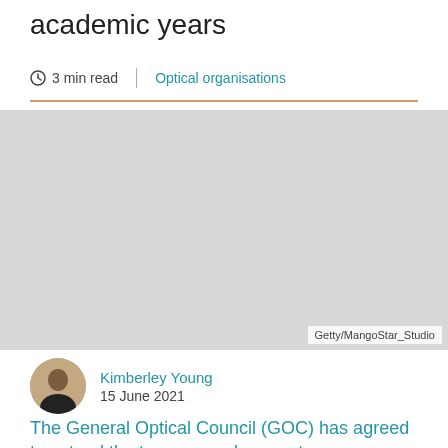academic years
3 min read
Optical organisations
[Figure (photo): Photograph with caption Getty/MangoStar_Studio]
Getty/MangoStar_Studio
Kimberley Young
15 June 2021
The General Optical Council (GOC) has agreed to extend the temporary changes to